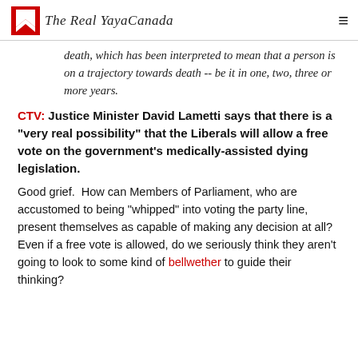The Real YayaCanada
death, which has been interpreted to mean that a person is on a trajectory towards death -- be it in one, two, three or more years.
CTV: Justice Minister David Lametti says that there is a "very real possibility" that the Liberals will allow a free vote on the government's medically-assisted dying legislation.
Good grief. How can Members of Parliament, who are accustomed to being "whipped" into voting the party line, present themselves as capable of making any decision at all? Even if a free vote is allowed, do we seriously think they aren't going to look to some kind of bellwether to guide their thinking?